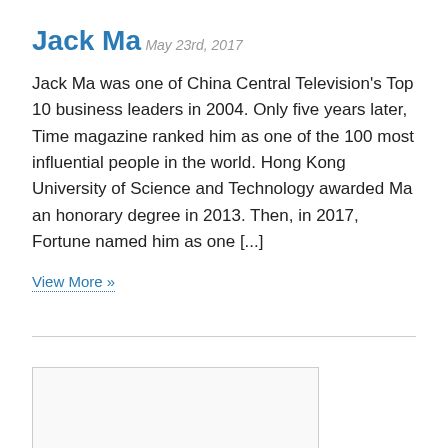Jack Ma
May 23rd, 2017
Jack Ma was one of China Central Television's Top 10 business leaders in 2004. Only five years later, Time magazine ranked him as one of the 100 most influential people in the world. Hong Kong University of Science and Technology awarded Ma an honorary degree in 2013. Then, in 2017, Fortune named him as one [...]
View More »
[Figure (other): Image placeholder box, partially visible at bottom of page]